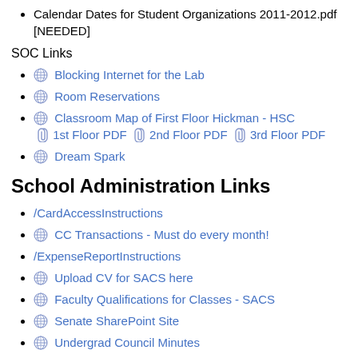Calendar Dates for Student Organizations 2011-2012.pdf [NEEDED]
SOC Links
Blocking Internet for the Lab
Room Reservations
Classroom Map of First Floor Hickman - HSC 1st Floor PDF 2nd Floor PDF 3rd Floor PDF
Dream Spark
School Administration Links
/CardAccessInstructions
CC Transactions - Must do every month!
/ExpenseReportInstructions
Upload CV for SACS here
Faculty Qualifications for Classes - SACS
Senate SharePoint Site
Undergrad Council Minutes